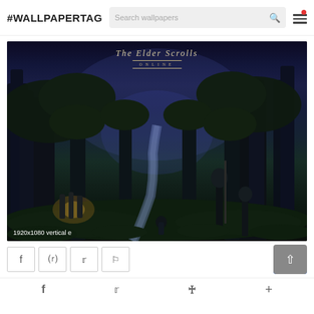#WALLPAPERTAG
[Figure (screenshot): The Elder Scrolls Online fantasy forest wallpaper showing a moonlit woodland with large ancient trees, glowing light sources, a winding stream, and figures standing in the foreground. Text overlay at bottom reads '1920x1080 vertical e'.]
1920x1080 vertical e
[Figure (infographic): Social share buttons row: Facebook, Pinterest, Twitter, Flag icons in bordered boxes, and a scroll-to-top button (arrow up) with grey and blue background.]
f  Twitter  P  +